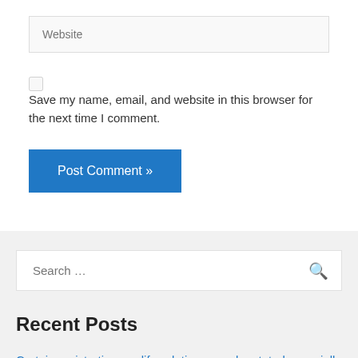Website
Save my name, email, and website in this browser for the next time I comment.
Post Comment »
Search …
Recent Posts
Certain registration modify solutions may be stated especially as being 'GUARENTEED Union MEMBERSHIPS'